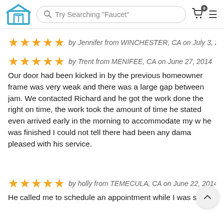Try Searching "Faucet"
★★★★★ by Jennifer from WINCHESTER, CA on July 3, 2
★★★★★ by Trent from MENIFEE, CA on June 27, 2014
Our door had been kicked in by the previous homeowner frame was very weak and there was a large gap between jam. We contacted Richard and he got the work done the right on time, the work took the amount of time he stated even arrived early in the morning to accommodate my w he was finished I could not tell there had been any dama pleased with his service.
★★★★★ by holly from TEMECULA, CA on June 22, 2014
He called me to schedule an appointment while I was sti